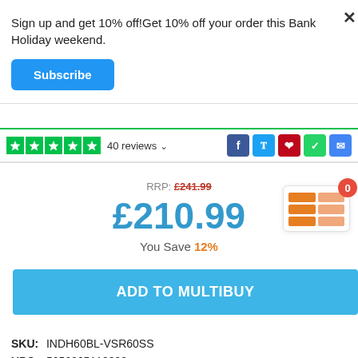Sign up and get 10% off!Get 10% off your order this Bank Holiday weekend.
Subscribe
40 reviews
RRP: £241.99
£210.99
You Save 12%
ADD TO MULTIBUY
SKU:  INDH60BL-VSR60SS
UPC:  5056265110393